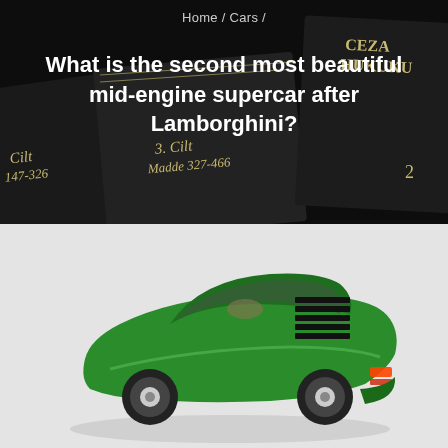Home / Cars /
What is the second most beautiful mid-engine supercar after Lamborghini?
[Figure (photo): Dark background with overlapping black book covers showing gold text labels: 'Cilt 147-326', '3. Cilt Madde 327-466', and partially visible text 'CEZA HUKUKU' on upper right. Overlaid navigation breadcrumb and page title in white.]
[Figure (photo): Green classic supercar (Lamborghini Miura) photographed from rear three-quarter angle on white/grey background, showing distinctive louvered rear engine cover and vintage styling.]